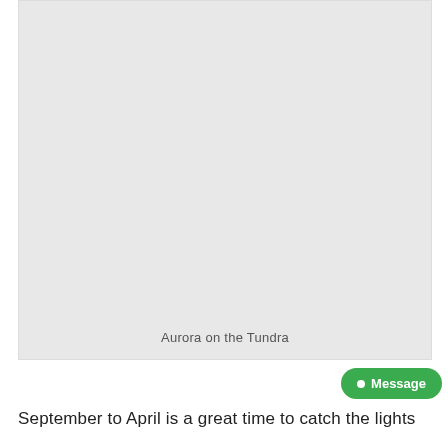[Figure (photo): A placeholder image area with light gray background, captioned 'Aurora on the Tundra']
Aurora on the Tundra
September to April is a great time to catch the lights